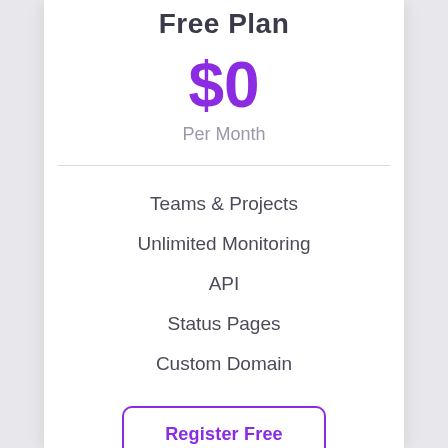Free Plan
$0
Per Month
Teams & Projects
Unlimited Monitoring
API
Status Pages
Custom Domain
Register Free